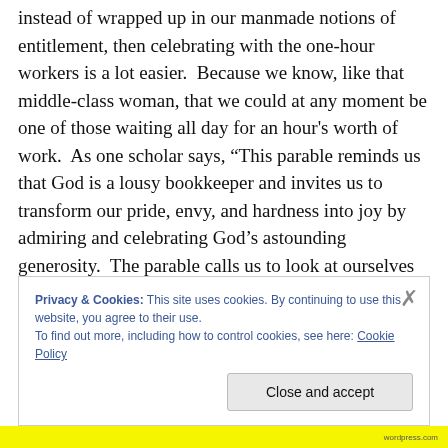instead of wrapped up in our manmade notions of entitlement, then celebrating with the one-hour workers is a lot easier.  Because we know, like that middle-class woman, that we could at any moment be one of those waiting all day for an hour's worth of work.  As one scholar says, “This parable reminds us that God is a lousy bookkeeper and invites us to transform our pride, envy, and hardness into joy by admiring and celebrating God’s astounding generosity.  The parable calls us to look at ourselves honestly and lovingly, as God looks at us.  [The parable] invites us to turn from holding grudges because
Privacy & Cookies: This site uses cookies. By continuing to use this website, you agree to their use.
To find out more, including how to control cookies, see here: Cookie Policy